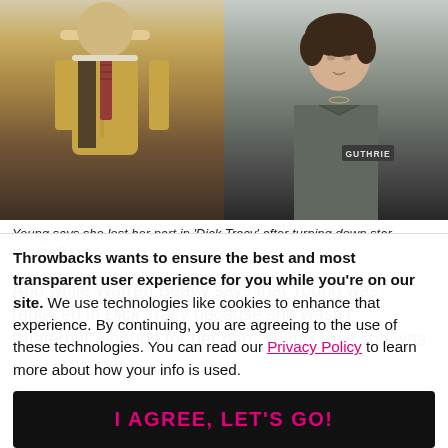[Figure (photo): Two side-by-side photos: left shows a man in a yellow jacket and striped tie (Warren Beatty as Dick Tracy), right shows a young woman in a gray uniform with a 'GUTHRIE' name badge.]
Young says she lost her part in 'Dick Tracy' after turning down star Warren Beatty.
And while Warren Beatty says that Young was replaced in Dick Tracy because she wasn't "maternal" enough for her part, Young says she was
Throwbacks wants to ensure the best and most transparent user experience for you while you're on our site. We use technologies like cookies to enhance that experience. By continuing, you are agreeing to the use of these technologies. You can read our Privacy Policy to learn more about how your info is used.
I AGREE, LET'S GO!